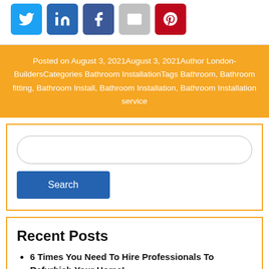[Figure (other): Social sharing icons: Twitter (blue), LinkedIn (dark blue), Facebook (dark blue), Mail (grey), Pinterest (red)]
Posted on August 3, 2021August 3, 2021Author London-BuildersCategories Bathroom InstallationTags Bathroom, Bathroom fitting, Bathroom Install, Bathroom Installation, Bathroom Installation service
[Figure (other): Search input field with rounded border and a blue Search button below]
Recent Posts
6 Times You Need To Hire Professionals To Refurbish Your Home!